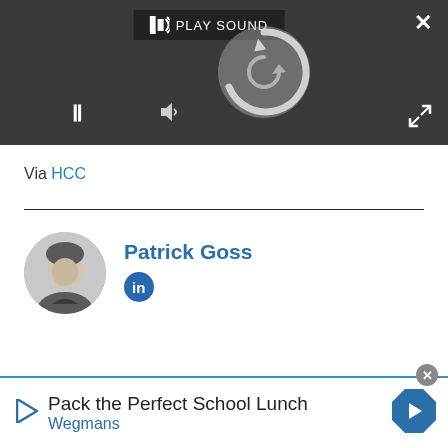[Figure (screenshot): Dark media player bar with 'PLAY SOUND' button, spinning loading circle, pause button, volume icon, close X button, and expand arrows]
Via HCC
[Figure (photo): Circular avatar photo of Patrick Goss, a man in a dark top, black and white photo]
Patrick Goss
[Figure (logo): LinkedIn blue circle icon with 'in']
Pack the Perfect School Lunch
Wegmans